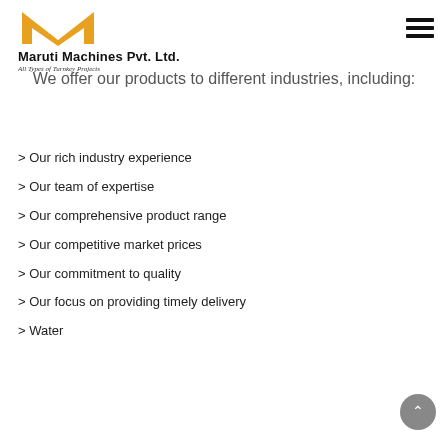[Figure (logo): Maruti Machines Pvt. Ltd. logo — orange M-shaped geometric mark with a white checkmark/person shape, company name in bold black, tagline in italic below]
We offer our products to different industries, including:
> Our rich industry experience
> Our team of expertise
> Our comprehensive product range
> Our competitive market prices
> Our commitment to quality
> Our focus on providing timely delivery
> Water